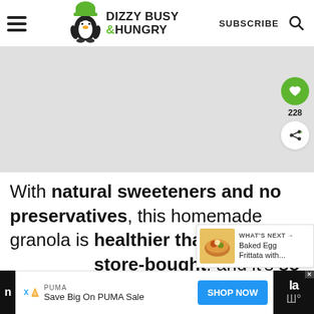Dizzy Busy & Hungry — SUBSCRIBE
[Figure (other): Gray advertisement placeholder banner]
With natural sweeteners and no preservatives, this homemade granola is healthier than any store-bought, and it's so easy to make!
[Figure (other): WHAT'S NEXT widget: Baked Egg Frittata with...]
[Figure (other): Bottom advertisement bar: PUMA Save Big On PUMA Sale with SHOP NOW button]